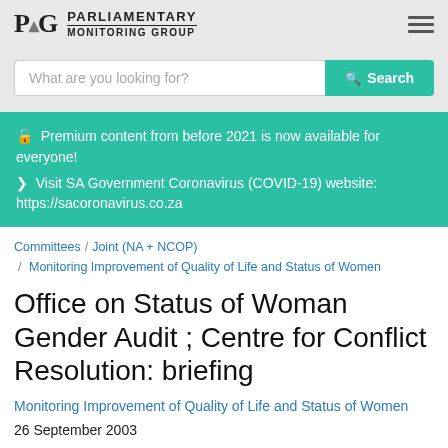[Figure (logo): PMG Parliamentary Monitoring Group logo with hamburger menu icon]
[Figure (screenshot): Search bar with placeholder 'What are you looking for?' and teal Search button]
🔓 Premium content from before 2021 is now available for everyone! ❯ Visit SA Government Coronavirus (COVID-19) website: https://sacoronavirus.co.za
Committees / Joint (NA + NCOP) / Monitoring Improvement of Quality of Life and Status of Women
Office on Status of Woman Gender Audit ; Centre for Conflict Resolution: briefing
Monitoring Improvement of Quality of Life and Status of Women
26 September 2003